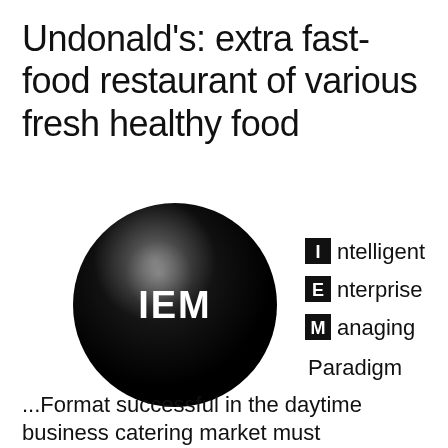Undonald's: extra fast-food restaurant of various fresh healthy food
[Figure (logo): A large black glossy sphere with white bold text 'IEM' in the center, alongside a text block reading 'Intelligent Enterprise Managing Paradigm' with I, E, M each shown in a black box followed by the rest of each word.]
...Format successful in the daytime business catering market must